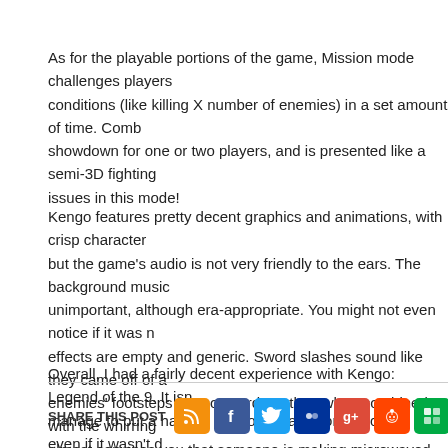As for the playable portions of the game, Mission mode challenges players conditions (like killing X number of enemies) in a set amount of time. Comb showdown for one or two players, and is presented like a semi-3D fighting issues in this mode!
Kengo features pretty decent graphics and animations, with crisp character but the game's audio is not very friendly to the ears. The background music unimportant, although era-appropriate. You might not even notice if it was n effects are empty and generic. Sword slashes sound like they came off of a enemies' footsteps are so overdone that, when combined with the whirring almost convince you that someone is making microwaved popcorn in the rc entire game is voiced in Japanese, with English subtitles, just in case you n
Overall, I had a fairly decent experience with Kengo: Legend of the 9. It isn manage to put a handful of good ideas in one package – even if it wasn't d been. The developers' hearts were in the right place, and for that, I'd say g bit of time. (But I wouldn't recommend buying it)
SHARE THIS POST